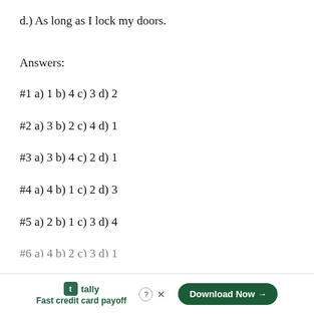d.) As long as I lock my doors.
Answers:
#1 a) 1 b) 4 c) 3 d) 2
#2 a) 3 b) 2 c) 4 d) 1
#3 a) 3 b) 4 c) 2 d) 1
#4 a) 4 b) 1 c) 2 d) 3
#5 a) 2 b) 1 c) 3 d) 4
#6 a) 4 b) 2 c) 3 d) 1